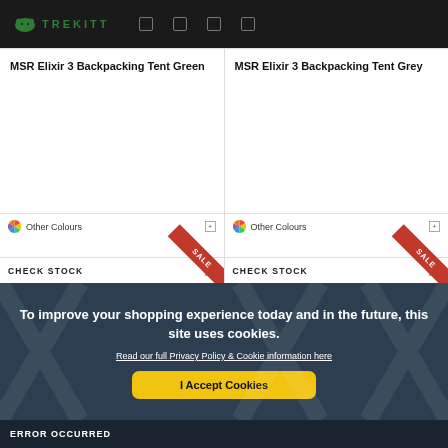TREKITT
MSR Elixir 3 Backpacking Tent Green
Other Colours
CHECK STOCK
[Figure (illustration): Red SALE corner ribbon badge on product card (left)]
MSR Elixir 3 Backpacking Tent Grey
Other Colours
CHECK STOCK
[Figure (illustration): Red SALE corner ribbon badge on product card (right)]
To improve your shopping experience today and in the future, this site uses cookies.
Read our full Privacy Policy & Cookie information here
I Accept Cookies
Need some help?
ERROR OCCURRED